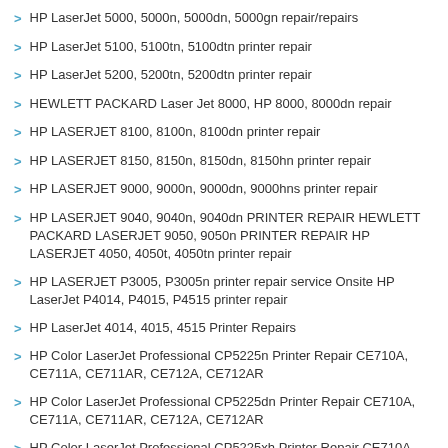HP LaserJet 5000, 5000n, 5000dn, 5000gn repair/repairs
HP LaserJet 5100, 5100tn, 5100dtn printer repair
HP LaserJet 5200, 5200tn, 5200dtn printer repair
HEWLETT PACKARD Laser Jet 8000, HP 8000, 8000dn repair
HP LASERJET 8100, 8100n, 8100dn printer repair
HP LASERJET 8150, 8150n, 8150dn, 8150hn printer repair
HP LASERJET 9000, 9000n, 9000dn, 9000hns printer repair
HP LASERJET 9040, 9040n, 9040dn PRINTER REPAIR HEWLETT PACKARD LASERJET 9050, 9050n PRINTER REPAIR HP LASERJET 4050, 4050t, 4050tn printer repair
HP LASERJET P3005, P3005n printer repair service Onsite HP LaserJet P4014, P4015, P4515 printer repair
HP LaserJet 4014, 4015, 4515 Printer Repairs
HP Color LaserJet Professional CP5225n Printer Repair CE710A, CE711A, CE711AR, CE712A, CE712AR
HP Color LaserJet Professional CP5225dn Printer Repair CE710A, CE711A, CE711AR, CE712A, CE712AR
HP Color LaserJet Professional CP5225xh Printer Repair CE710A, CE711A, CE711AR, CE712A, CE712AR
HP Color LaserJet Professional CP5225 Printer Repair CE707A, CE708A, CE709A
HP COLOR LASERJET 3800dn, 3800dtn, 3800n Repair
HP COLOR LASER JET 3500, 3500 printer repair HP COLOR